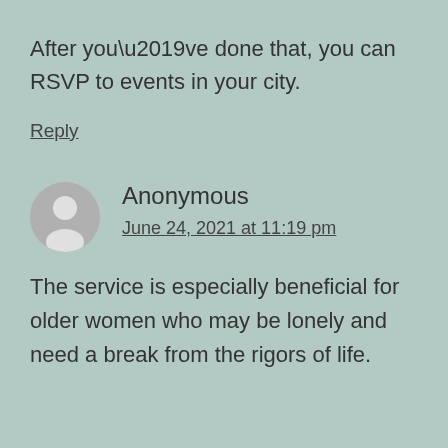After you’ve done that, you can RSVP to events in your city.
Reply
Anonymous
June 24, 2021 at 11:19 pm
The service is especially beneficial for older women who may be lonely and need a break from the rigors of life.